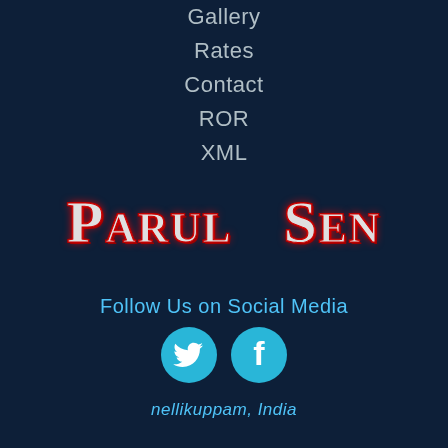Gallery
Rates
Contact
ROR
XML
Parul Sen
Follow Us on Social Media
[Figure (illustration): Twitter bird icon (cyan circle) and Facebook 'f' icon (cyan circle) side by side]
nellikuppam, India